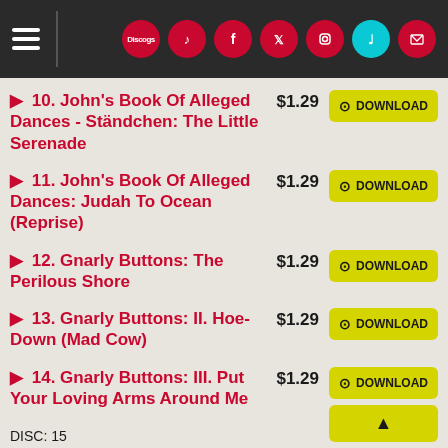Navigation header with menu and social icons
10. John's Book Of Alleged Dances - Ständchen: The Little Serenade  $1.29  DOWNLOAD
11. John's Book Of Alleged Dances: Judah To Ocean (Reprise)  $1.29  DOWNLOAD
12. Gnarly Buttons: The Perilous Shore  $1.29  DOWNLOAD
13. Gnarly Buttons: II. Hoe-Down (Mad Cow)  $1.29  DOWNLOAD
14. Gnarly Buttons: III. Put Your Loving Arms Around Me  $1.29  DOWNLOAD
DISC: 15